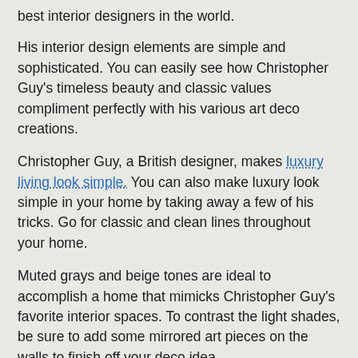best interior designers in the world.
His interior design elements are simple and sophisticated. You can easily see how Christopher Guy’s timeless beauty and classic values compliment perfectly with his various art deco creations.
Christopher Guy, a British designer, makes luxury living look simple. You can also make luxury look simple in your home by taking away a few of his tricks. Go for classic and clean lines throughout your home.
Muted grays and beige tones are ideal to accomplish a home that mimicks Christopher Guy’s favorite interior spaces. To contrast the light shades, be sure to add some mirrored art pieces on the walls to finish off your deco idea.
10. Aero Studios